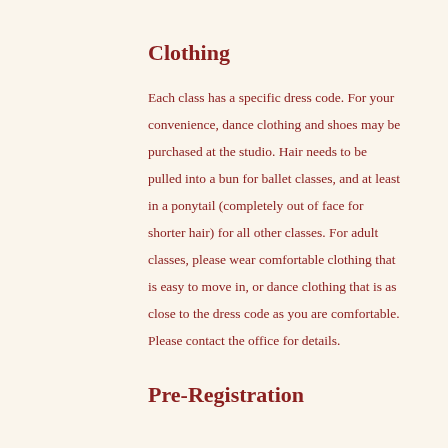Clothing
Each class has a specific dress code. For your convenience, dance clothing and shoes may be purchased at the studio. Hair needs to be pulled into a bun for ballet classes, and at least in a ponytail (completely out of face for shorter hair) for all other classes. For adult classes, please wear comfortable clothing that is easy to move in, or dance clothing that is as close to the dress code as you are comfortable. Please contact the office for details.
Pre-Registration